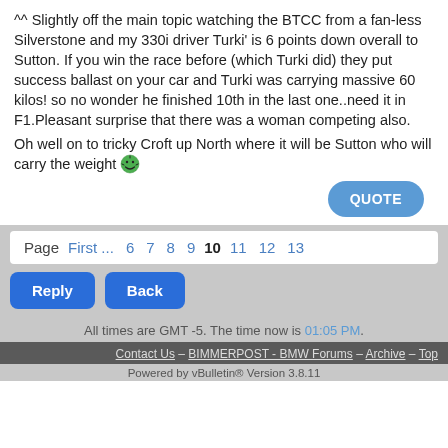^^ Slightly off the main topic watching the BTCC from a fan-less Silverstone and my 330i driver Turki' is 6 points down overall to Sutton. If you win the race before (which Turki did) they put success ballast on your car and Turki was carrying massive 60 kilos! so no wonder he finished 10th in the last one..need it in F1.Pleasant surprise that there was a woman competing also.
Oh well on to tricky Croft up North where it will be Sutton who will carry the weight 😁
QUOTE
Page First ... 6 7 8 9 10 11 12 13
Reply   Back
All times are GMT -5. The time now is 01:05 PM.
Contact Us - BIMMERPOST - BMW Forums - Archive - Top
Powered by vBulletin® Version 3.8.11